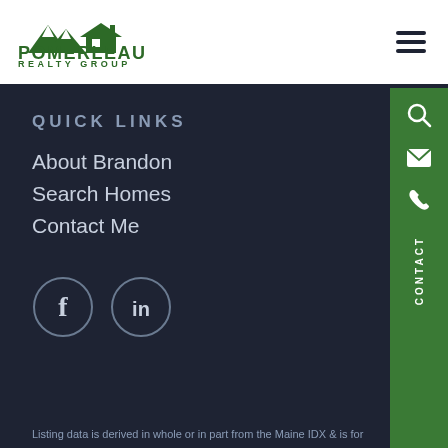[Figure (logo): Pomerleau Realty Group logo with house and mountains icon]
QUICK LINKS
About Brandon
Search Homes
Contact Me
[Figure (infographic): Social media icons: Facebook (f) and LinkedIn (in) in circular borders]
Listing data is derived in whole or in part from the Maine IDX & is for